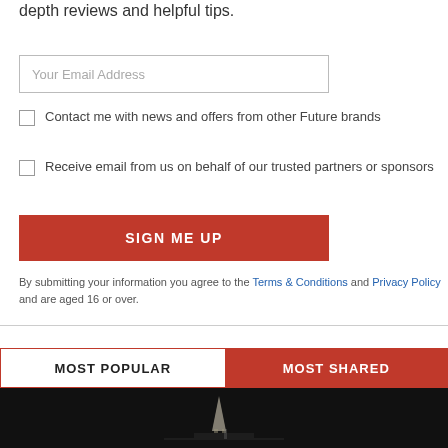depth reviews and helpful tips.
Your Email Address
Contact me with news and offers from other Future brands
Receive email from us on behalf of our trusted partners or sponsors
SIGN ME UP
By submitting your information you agree to the Terms & Conditions and Privacy Policy and are aged 16 or over.
MOST POPULAR
MOST SHARED
[Figure (photo): Dark background image at bottom of page, partially visible, showing a silhouette resembling a rocket or spacecraft.]